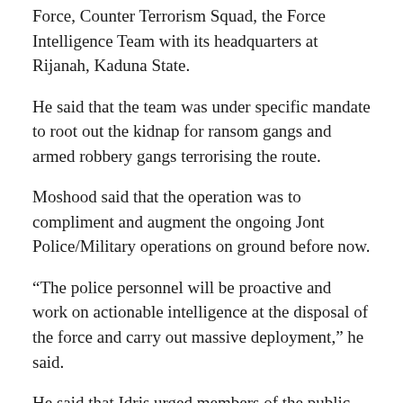Force, Counter Terrorism Squad, the Force Intelligence Team with its headquarters at Rijanah, Kaduna State.
He said that the team was under specific mandate to root out the kidnap for ransom gangs and armed robbery gangs terrorising the route.
Moshood said that the operation was to compliment and augment the ongoing Jont Police/Military operations on ground before now.
“The police personnel will be proactive and work on actionable intelligence at the disposal of the force and carry out massive deployment,” he said.
He said that Idris urged members of the public, especially commuters and people in towns and villages along the road to assist and cooperate with the police.